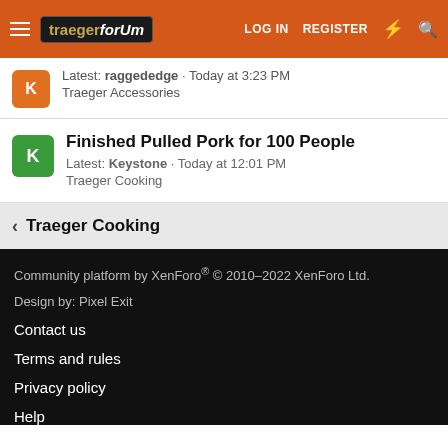traegerforum | LOG IN  REGISTER
Latest: raggededge · Today at 3:23 PM
Traeger Accessories
Finished Pulled Pork for 100 People
Latest: Keystone · Today at 12:01 PM
Traeger Cooking
< Traeger Cooking
Community platform by XenForo® © 2010–2022 XenForo Ltd.
Design by: Pixel Exit

Contact us

Terms and rules

Privacy policy

Help